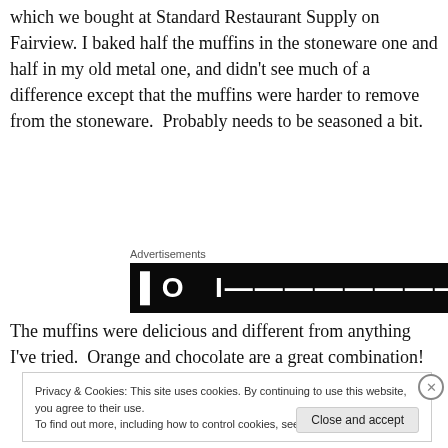which we bought at Standard Restaurant Supply on Fairview. I baked half the muffins in the stoneware one and half in my old metal one, and didn't see much of a difference except that the muffins were harder to remove from the stoneware.  Probably needs to be seasoned a bit.
[Figure (other): Black advertisement banner with white bold text partially visible]
The muffins were delicious and different from anything I've tried.  Orange and chocolate are a great combination!
Privacy & Cookies: This site uses cookies. By continuing to use this website, you agree to their use.
To find out more, including how to control cookies, see here: Cookie Policy